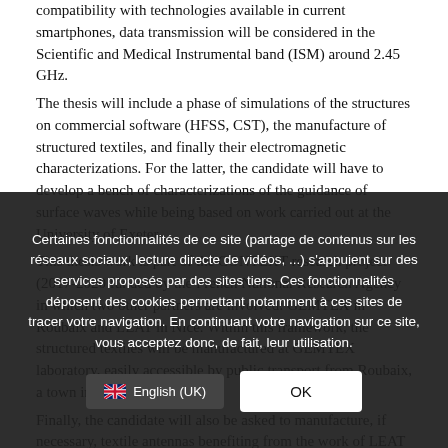compatibility with technologies available in current smartphones, data transmission will be considered in the Scientific and Medical Instrumental band (ISM) around 2.45 GHz.
The thesis will include a phase of simulations of the structures on commercial software (HFSS, CST), the manufacture of structured textiles, and finally their electromagnetic characterizations. For the latter, the candidate will have to develop a bench of characterizations of the guidance of surface waves while being based on work carried out at the University of Exeter.
This thesis work is part of the CONTEXT research project (2017-2020 funded by the French National Research Agency in which two other partners are involved: GEMTEX in Roubaix and LEAT in Nice. Within this framework, the structured textiles will be manufactured at GEMTEX laboratory, easily accessible by public transport from Roubaix, a town in the metropolitan...
Finally, the candidate will also be asked to manufacture, if necessary, textile antennas benefiting from the work of LEAT in the...
Certaines fonctionnalités de ce site (partage de contenus sur les réseaux sociaux, lecture directe de vidéos, ...) s'appuient sur des services proposés par des sites tiers. Ces fonctionnalités déposent des cookies permettant notamment à ces sites de tracer votre navigation. En continuant votre navigation sur ce site, vous acceptez donc, de fait, leur utilisation.
OK
English (UK)